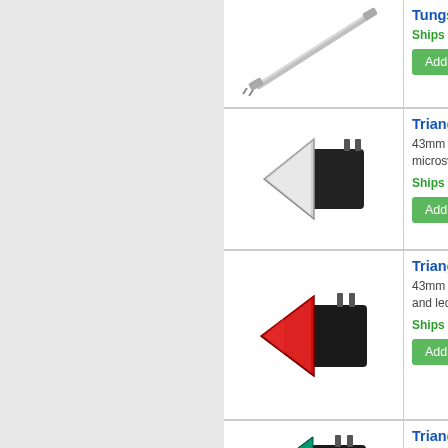[Figure (photo): Partial view of a Tungsten Halogen lamp, shown diagonally]
Tungsten Halogen La...
Ships From : NSW...
[Figure (photo): Triangle Illuminated push button with white/grey triangle face and black housing, connector pins visible]
Triangle Illuminate...
43mm Illuminated Tri... microswitch and led l...
Ships From : NSW...
[Figure (photo): Triangle Illuminated push button with red triangle face and black housing]
Triangle Illuminate...
43mm Illuminated Tr... and led lighting.
Ships From : NSW...
[Figure (photo): Triangle Illuminated push button with green/teal triangle face and black housing]
Triangle Illuminate...
43mm Illuminated Tri... microswitch and led ...